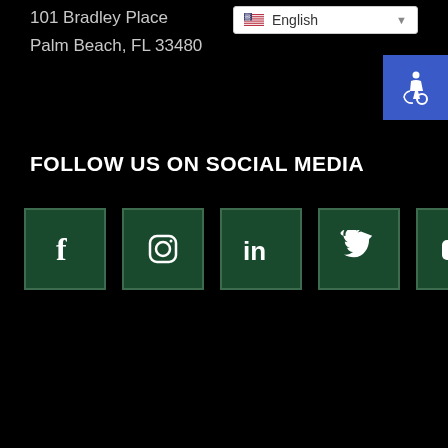101 Bradley Place
Palm Beach, FL 33480
[Figure (screenshot): English language selector dropdown with US flag]
[Figure (illustration): Accessibility icon (wheelchair symbol) on blue background]
FOLLOW US ON SOCIAL MEDIA
[Figure (infographic): Five social media icons: Facebook, Instagram, LinkedIn, Twitter, YouTube — white icons on dark green square backgrounds]